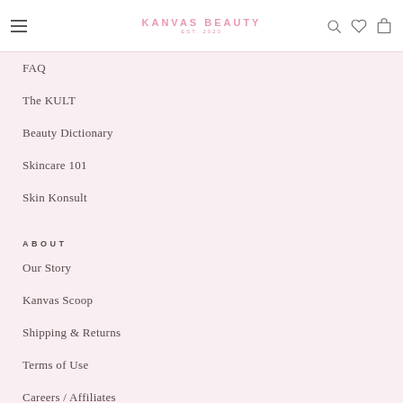KANVAS BEAUTY EST. 2020
FAQ
The KULT
Beauty Dictionary
Skincare 101
Skin Konsult
ABOUT
Our Story
Kanvas Scoop
Shipping & Returns
Terms of Use
Careers / Affiliates